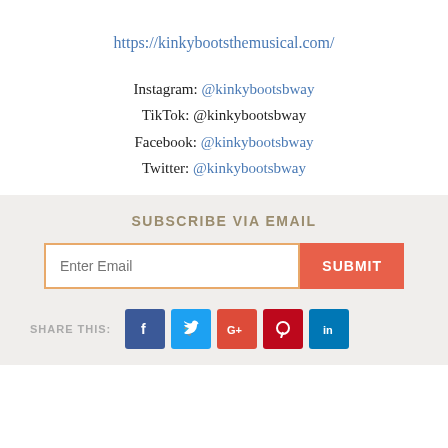https://kinkybootsthemusical.com/
Instagram: @kinkybootsbway
TikTok: @kinkybootsbway
Facebook: @kinkybootsbway
Twitter: @kinkybootsbway
SUBSCRIBE VIA EMAIL
Enter Email  SUBMIT
SHARE THIS: